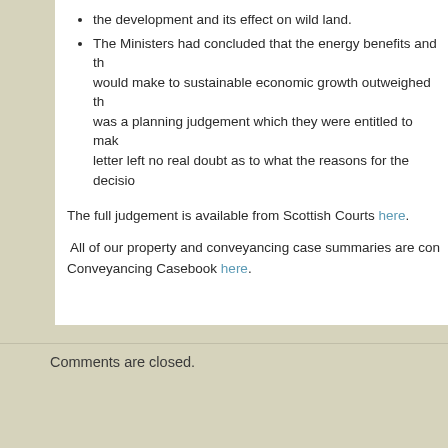the development and its effect on wild land.
The Ministers had concluded that the energy benefits and the contribution it would make to sustainable economic growth outweighed the harm. This was a planning judgement which they were entitled to make. The decision letter left no real doubt as to what the reasons for the decision were.
The full judgement is available from Scottish Courts here.
All of our property and conveyancing case summaries are contained in the Conveyancing Casebook here.
Tags: Planning, property, renewables
Comments are closed.